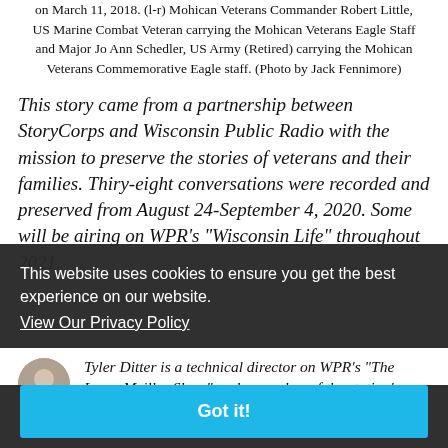on March 11, 2018. (l-r) Mohican Veterans Commander Robert Little, US Marine Combat Veteran carrying the Mohican Veterans Eagle Staff and Major Jo Ann Schedler, US Army (Retired) carrying the Mohican Veterans Commemorative Eagle staff. (Photo by Jack Fennimore)
This story came from a partnership between StoryCorps and Wisconsin Public Radio with the mission to preserve the stories of veterans and their families. Thiry-eight conversations were recorded and preserved from August 24-September 4, 2020. Some will be airing on WPR's "Wisconsin Life" throughout 2021.
This website uses cookies to ensure you get the best experience on our website.
View Our Privacy Policy
Got it!
Tyler Ditter is a technical director on WPR's "The Larry Meiller Show" and a member of the station's learning experience team.